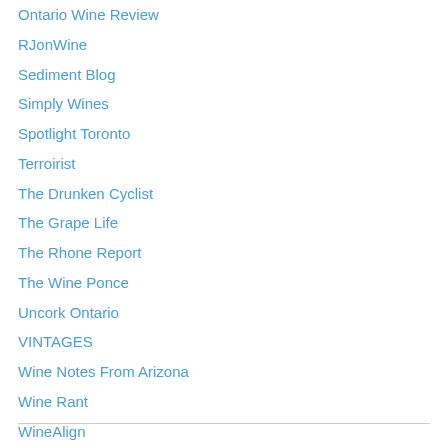Ontario Wine Review
RJonWine
Sediment Blog
Simply Wines
Spotlight Toronto
Terroirist
The Drunken Cyclist
The Grape Life
The Rhone Report
The Wine Ponce
Uncork Ontario
VINTAGES
Wine Notes From Arizona
Wine Rant
WineAlign
Wines Domain
Wines In Niagara
Work For Wine